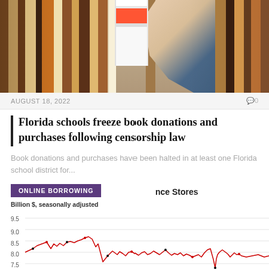[Figure (photo): Photo of a person's hand reaching up to pull a book from a library shelf filled with many books in a bookshelf]
AUGUST 18, 2022
0
Florida schools freeze book donations and purchases following censorship law
Book donations and purchases have been halted in at least one Florida school district for...
[Figure (line-chart): Line chart showing data in billions of dollars, seasonally adjusted, with y-axis values from 7.0 to 9.5, overlaid with ONLINE BORROWING label badge]